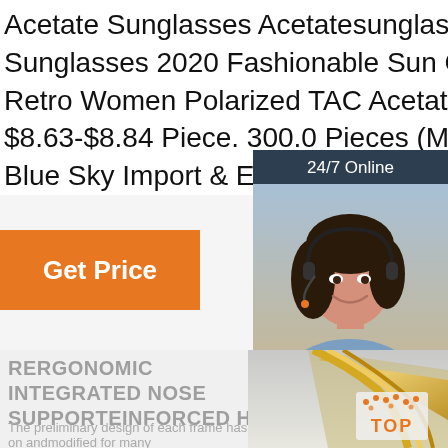Acetate Sunglasses Acetatesunglasses Acetate Sunglasses 2020 Fashionable Sun Glasses Diamond Retro Women Polarized TAC Acetate Sunglasses. US $8.63-$8.84 Piece. 300.0 Pieces (Min. Or... Wenzhou Blue Sky Import & Export Co., L...
[Figure (photo): Customer service agent with headset, 24/7 online chat widget with 'Click here for free chat!' and QUOTATION button]
Get Price
RERGONOMIC INTEGRATED NOSE SUPPORTEINFORCED HINGE
The preliminary design of each frame has been tried on andmodified for many
[Figure (photo): Gold sunglasses frame close-up and TOP badge with orange dots]